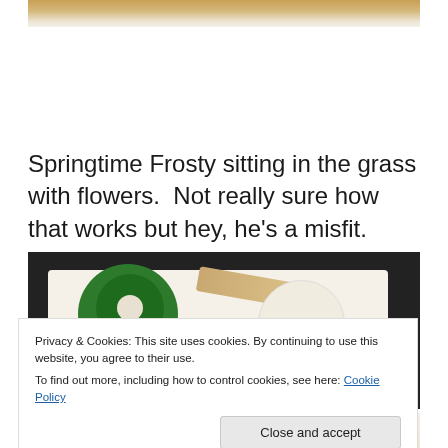[Figure (photo): Partial view of a cookie or baked good, showing the bottom edge of an image cropped at the top of the page]
Springtime Frosty sitting in the grass with flowers.  Not really sure how that works but hey, he's a misfit.
[Figure (photo): Decorated Christmas cookies on a white surface against a dark background: a green wreath cookie with red and white sprinkles, a candy cane shaped cookie, and a snowman cookie]
Privacy & Cookies: This site uses cookies. By continuing to use this website, you agree to their use.
To find out more, including how to control cookies, see here: Cookie Policy
[Figure (photo): Bottom strip of another cookie photo partially visible at the bottom of the page]